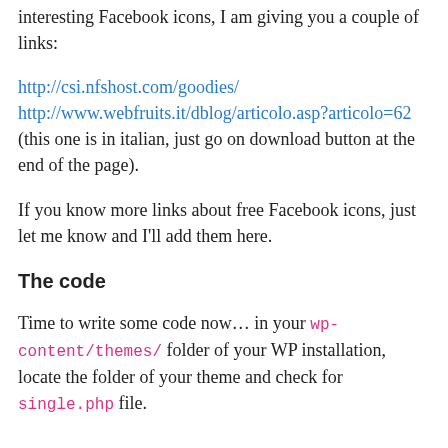interesting Facebook icons, I am giving you a couple of links:
http://csi.nfshost.com/goodies/ http://www.webfruits.it/dblog/articolo.asp?articolo=62 (this one is in italian, just go on download button at the end of the page).
If you know more links about free Facebook icons, just let me know and I'll add them here.
The code
Time to write some code now… in your wp-content/themes/ folder of your WP installation, locate the folder of your theme and check for single.php file.